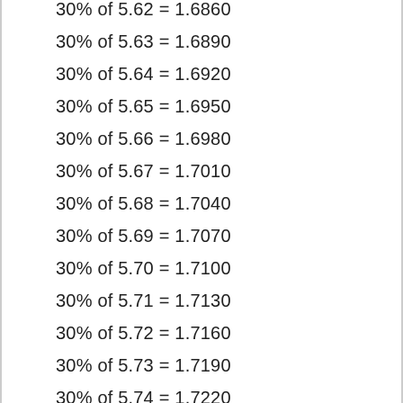30% of 5.62 = 1.6860
30% of 5.63 = 1.6890
30% of 5.64 = 1.6920
30% of 5.65 = 1.6950
30% of 5.66 = 1.6980
30% of 5.67 = 1.7010
30% of 5.68 = 1.7040
30% of 5.69 = 1.7070
30% of 5.70 = 1.7100
30% of 5.71 = 1.7130
30% of 5.72 = 1.7160
30% of 5.73 = 1.7190
30% of 5.74 = 1.7220